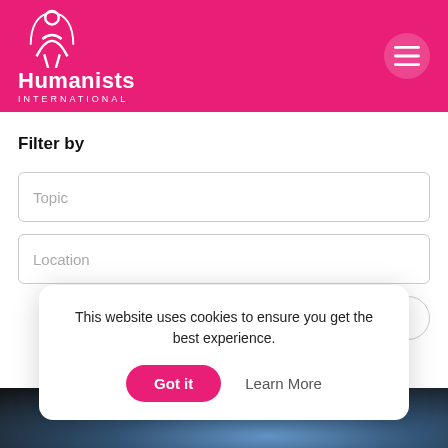[Figure (logo): Humanists International logo with white humanist figure icon and white text 'Humanists INTERNATIONAL' on pink/magenta background with hamburger menu button]
Filter by
Topic
Location
Submit
Clear
This website uses cookies to ensure you get the best experience.
Got it
Learn More
[Figure (photo): Dark photo strip at the bottom of the page]